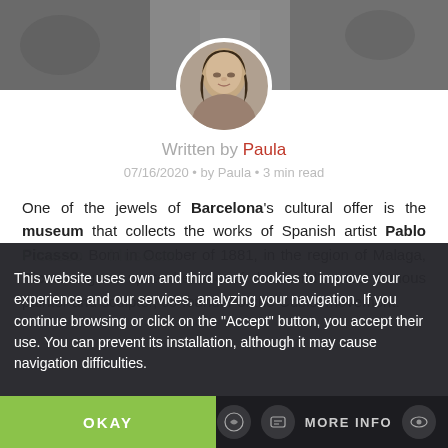[Figure (photo): Black and white banner image (appears to be Guernica painting) with a circular portrait photo of a woman (Paula) centered overlapping the banner.]
Written by Paula
07/16/2020 • by Paula • 3 min read
One of the jewels of Barcelona's cultural offer is the museum that collects the works of Spanish artist Pablo Picasso. Born in October of 1881, in the region of Malaga, Picasso grew up to be one of the world's most famous painter and sculptor, co-founder of the Cubist movement.
Picasso    Museum
This website uses own and third party cookies to improve your experience and our services, analyzing your navigation. If you continue browsing or click on the "Accept" button, you accept their use. You can prevent its installation, although it may cause navigation difficulties.
OKAY
MORE INFO